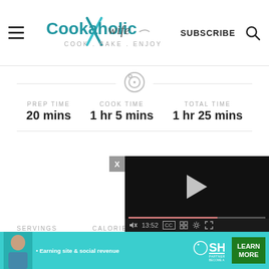Cookaholic Wife | COOK . BAKE . ENJOY | SUBSCRIBE
PREP TIME 20 mins | COOK TIME 1 hr 5 mins | TOTAL TIME 1 hr 25 mins
[Figure (screenshot): Video player overlay showing paused video at 13:52 with play button, progress bar, CC, grid, settings, and fullscreen controls]
SERVINGS 16 bars | CALORIES 287 kcal
[Figure (infographic): SHE Media advertisement banner: Earning site & social revenue, SHE Partner Network, Learn More button]